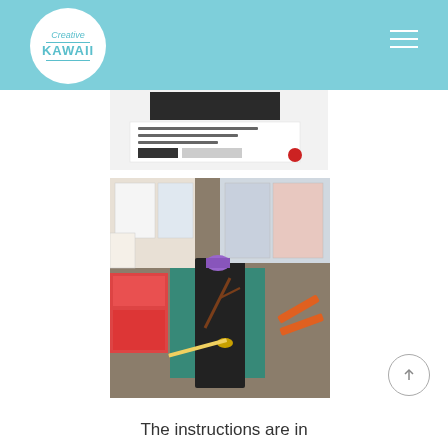Creative Kawaii
[Figure (photo): Partial view of a craft kit package showing Japanese text, barcode, and product details on white background]
[Figure (photo): Overhead view of a needlework/embroidery craft project with bird and branch motif on dark fabric, surrounded by colorful papers, patterns, thread, scissors, and craft supplies on a cutting mat]
The instructions are in